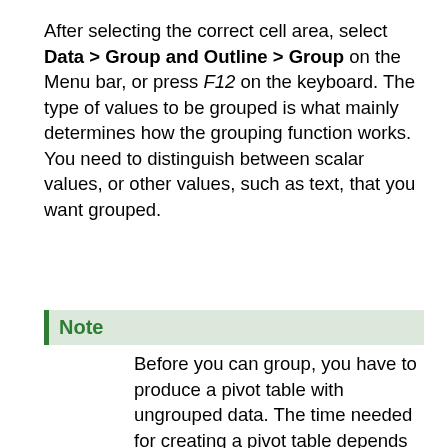After selecting the correct cell area, select Data > Group and Outline > Group on the Menu bar, or press F12 on the keyboard. The type of values to be grouped is what mainly determines how the grouping function works. You need to distinguish between scalar values, or other values, such as text, that you want grouped.
Note
Before you can group, you have to produce a pivot table with ungrouped data. The time needed for creating a pivot table depends mostly on the number of columns and rows and not on the size of the basic data. Through grouping, you can produce the pivot table with a small number of rows and